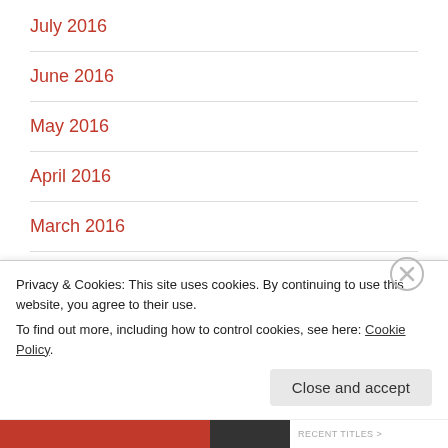July 2016
June 2016
May 2016
April 2016
March 2016
February 2016
January 2016
Privacy & Cookies: This site uses cookies. By continuing to use this website, you agree to their use.
To find out more, including how to control cookies, see here: Cookie Policy
Close and accept